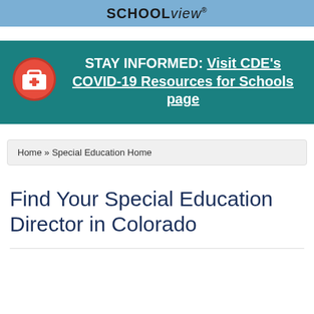SCHOOLview®
[Figure (infographic): Teal banner with red first-aid briefcase icon and white bold text: STAY INFORMED: Visit CDE's COVID-19 Resources for Schools page]
Home » Special Education Home
Find Your Special Education Director in Colorado